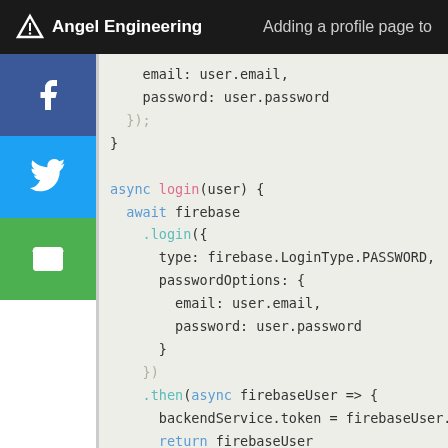Angel Engineering — Adding a profile page to
[Figure (screenshot): JavaScript code snippet showing async login function with Firebase authentication, including email/password options and .then callback setting backendService.token]
Social share buttons: Facebook, Twitter, Email